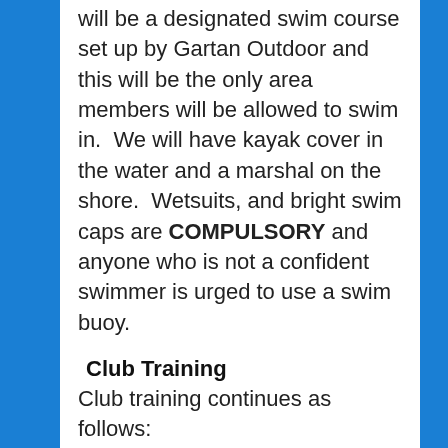will be a designated swim course set up by Gartan Outdoor and this will be the only area members will be allowed to swim in.  We will have kayak cover in the water and a marshal on the shore.  Wetsuits, and bright swim caps are COMPULSORY and anyone who is not a confident swimmer is urged to use a swim buoy.
Club Training
Club training continues as follows:
Monday: Open Water swim sessions Gartan @ 6.30pm
Tuesday:  Road based session